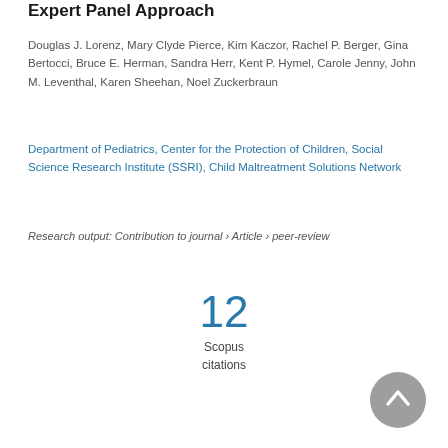Expert Panel Approach
Douglas J. Lorenz, Mary Clyde Pierce, Kim Kaczor, Rachel P. Berger, Gina Bertocci, Bruce E. Herman, Sandra Herr, Kent P. Hymel, Carole Jenny, John M. Leventhal, Karen Sheehan, Noel Zuckerbraun
Department of Pediatrics, Center for the Protection of Children, Social Science Research Institute (SSRI), Child Maltreatment Solutions Network
Research output: Contribution to journal › Article › peer-review
12
Scopus
citations